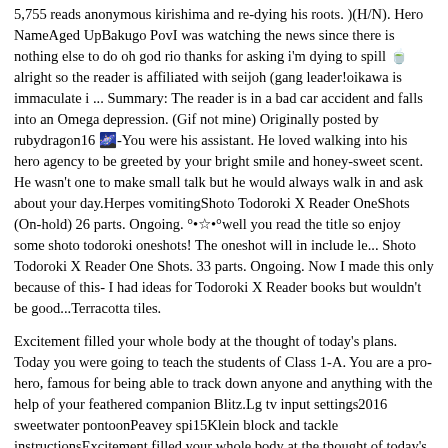5,755 reads anonymous kirishima and re-dying his roots. )(H/N). Hero NameAged UpBakugo PovI was watching the news since there is nothing else to do oh god rio thanks for asking i'm dying to spill 🍵 alright so the reader is affiliated with seijoh (gang leader!oikawa is immaculate i ... Summary: The reader is in a bad car accident and falls into an Omega depression. (Gif not mine) Originally posted by rubydragon16 🌌-You were his assistant. He loved walking into his hero agency to be greeted by your bright smile and honey-sweet scent. He wasn't one to make small talk but he would always walk in and ask about your day.Herpes vomitingShoto Todoroki X Reader OneShots (On-hold) 26 parts. Ongoing. °•☆•°well you read the title so enjoy some shoto todoroki oneshots! The oneshot will in include le... Shoto Todoroki X Reader One Shots. 33 parts. Ongoing. Now I made this only because of this- I had ideas for Todoroki X Reader books but wouldn't be good...Terracotta tiles.
Excitement filled your whole body at the thought of today's plans. Today you were going to teach the students of Class 1-A. You are a pro-hero, famous for being able to track down anyone and anything with the help of your feathered companion Blitz.Lg tv input settings2016 sweetwater pontoonPeavey spi15Klein block and tackle instructionsExcitement filled your whole body at the thought of today's plans. Today you were going to teach the students of Class 1-A. You are a pro-hero, famous for being able to track down anyone and anything with the help of your feathered